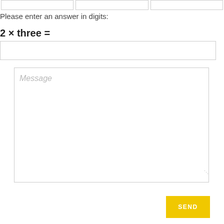Please enter an answer in digits:
Message
SEND